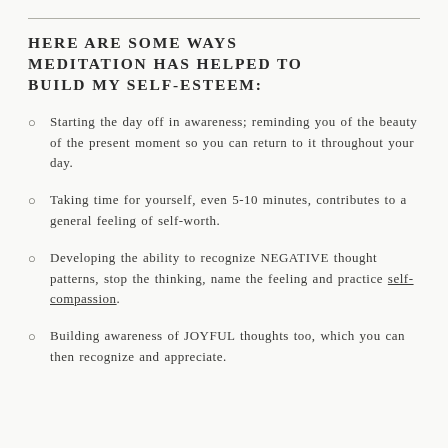HERE ARE SOME WAYS MEDITATION HAS HELPED TO BUILD MY SELF-ESTEEM:
Starting the day off in awareness; reminding you of the beauty of the present moment so you can return to it throughout your day.
Taking time for yourself, even 5-10 minutes, contributes to a general feeling of self-worth.
Developing the ability to recognize NEGATIVE thought patterns, stop the thinking, name the feeling and practice self-compassion.
Building awareness of JOYFUL thoughts too, which you can then recognize and appreciate.